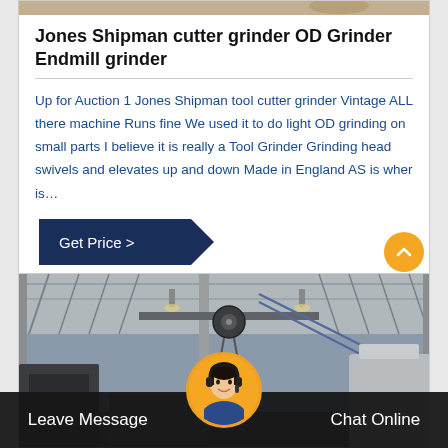Jones Shipman cutter grinder OD Grinder Endmill grinder
Up for Auction 1 Jones Shipman tool cutter grinder Vintage ALL there machine Runs fine We used it to do light OD grinding on small parts I believe it is really a Tool Grinder Grinding head swivels and elevates up and down Made in England AS is wher is…
[Figure (photo): Factory interior showing industrial crane hook, steel cables, structural beams and industrial equipment in a large warehouse]
Leave Message
Chat Online